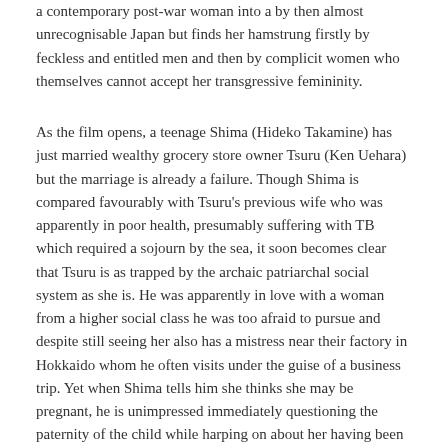a contemporary post-war woman into a by then almost unrecognisable Japan but finds her hamstrung firstly by feckless and entitled men and then by complicit women who themselves cannot accept her transgressive femininity.
As the film opens, a teenage Shima (Hideko Takamine) has just married wealthy grocery store owner Tsuru (Ken Uehara) but the marriage is already a failure. Though Shima is compared favourably with Tsuru's previous wife who was apparently in poor health, presumably suffering with TB which required a sojourn by the sea, it soon becomes clear that Tsuru is as trapped by the archaic patriarchal social system as she is. He was apparently in love with a woman from a higher social class he was too afraid to pursue and despite still seeing her also has a mistress near their factory in Hokkaido whom he often visits under the guise of a business trip. Yet when Shima tells him she thinks she may be pregnant, he is unimpressed immediately questioning the paternity of the child while harping on about her having been married before which it seems is not quite true. Perhaps the reason that she has ended up